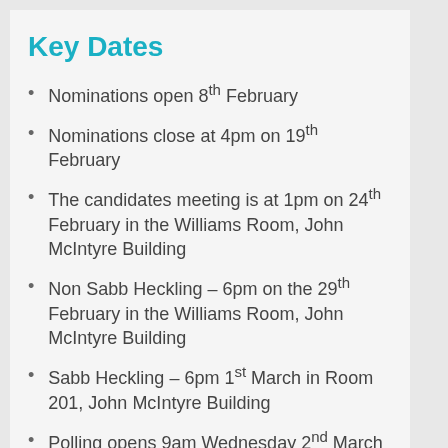Key Dates
Nominations open 8th February
Nominations close at 4pm on 19th February
The candidates meeting is at 1pm on 24th February in the Williams Room, John McIntyre Building
Non Sabb Heckling – 6pm on the 29th February in the Williams Room, John McIntyre Building
Sabb Heckling – 6pm 1st March in Room 201, John McIntyre Building
Polling opens 9am Wednesday 2nd March
Polling closes 5pm Thursday 3rd March